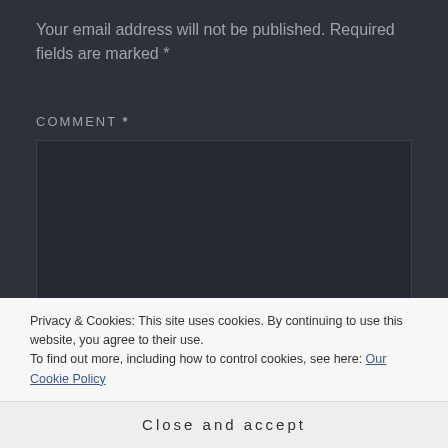Your email address will not be published. Required fields are marked *
COMMENT *
[Figure (screenshot): Empty comment text area input box with dark background]
Privacy & Cookies: This site uses cookies. By continuing to use this website, you agree to their use.
To find out more, including how to control cookies, see here: Our Cookie Policy
Close and accept